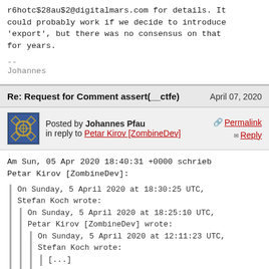r6hotc$28au$2@digitalmars.com for details. It could probably work if we decide to introduce 'export', but there was no consensus on that for years.

--
Johannes
Re: Request for Comment assert(__ctfe)    April 07, 2020
Posted by Johannes Pfau
in reply to Petar Kirov [ZombineDev]
Permalink  Reply
Am Sun, 05 Apr 2020 18:40:31 +0000 schrieb Petar Kirov [ZombineDev]:

  On Sunday, 5 April 2020 at 18:30:25 UTC, Stefan Koch wrote:
    On Sunday, 5 April 2020 at 18:25:10 UTC, Petar Kirov [ZombineDev] wrote:
      On Sunday, 5 April 2020 at 12:11:23 UTC, Stefan Koch wrote:
        [...]

      Another, more radical and interesting